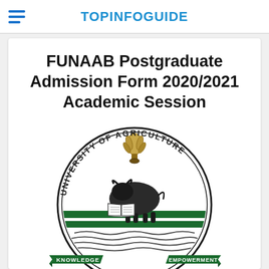TOPINFOGUIDE
FUNAAB Postgraduate Admission Form 2020/2021 Academic Session
[Figure (logo): University of Agriculture Abeokuta (FUNAAB) circular crest/logo featuring a sheaf of grain at top, a bull/ox with an open book, green and white horizontal bands with wavy lines, green ribbon banners reading 'KNOWLEDGE' and 'EMPOWERMENT', and text 'UNIVERSITY OF AGRICULTURE' around the circle and 'ABEOKUTA' at the bottom.]